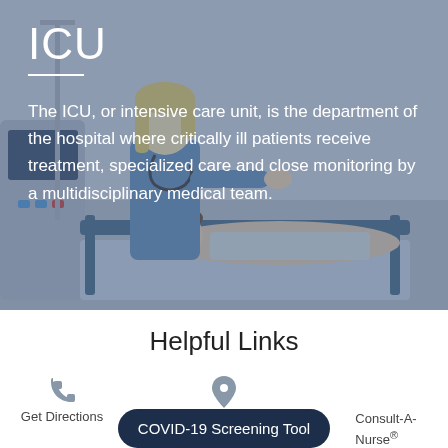[Figure (photo): ICU scene: a female nurse/healthcare worker in blue scrubs attending to a male patient lying in a hospital bed, surrounded by medical equipment and monitors. The image has a dark overlay.]
ICU
The ICU, or intensive care unit, is the department of the hospital where critically ill patients receive treatment, specialized care and close monitoring by a multidisciplinary medical team.
Helpful Links
Get Directions
COVID-19 Screening Tool
Consult-A-Nurse®